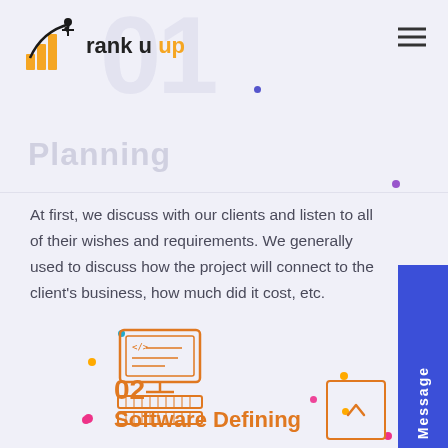[Figure (logo): Rank U Up logo with orange bar chart and arrow icon, text 'rank u up' with orange 'up']
Planning
At first, we discuss with our clients and listen to all of their wishes and requirements. We generally used to discuss how the project will connect to the client's business, how much did it cost, etc.
[Figure (illustration): Orange outline icon of a computer/monitor with code symbols and a keyboard/server rack below]
02
Software Defining